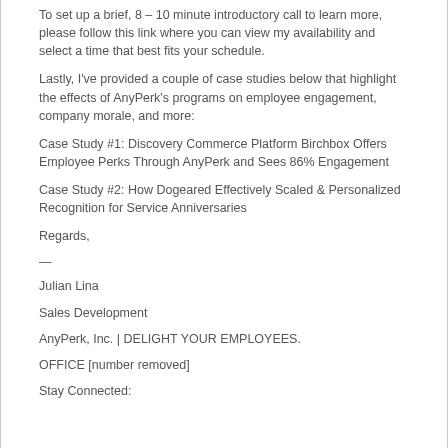To set up a brief, 8 – 10 minute introductory call to learn more, please follow this link where you can view my availability and select a time that best fits your schedule.
Lastly, I've provided a couple of case studies below that highlight the effects of AnyPerk's programs on employee engagement, company morale, and more:
Case Study #1: Discovery Commerce Platform Birchbox Offers Employee Perks Through AnyPerk and Sees 86% Engagement
Case Study #2: How Dogeared Effectively Scaled & Personalized Recognition for Service Anniversaries
Regards,
—
Julian Lina
Sales Development
AnyPerk, Inc. | DELIGHT YOUR EMPLOYEES.
OFFICE [number removed]
Stay Connected: